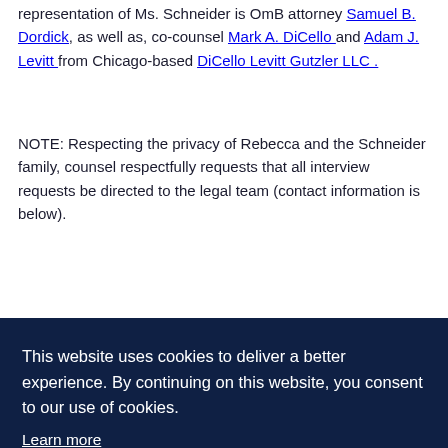representation of Ms. Schneider is OmB attorney Samuel B. Dordick, as well as, co-counsel Mark A. DiCello and Adam J. Levitt from Chicago-based DiCello Levitt Gutzler LLC .
NOTE: Respecting the privacy of Rebecca and the Schneider family, counsel respectfully requests that all interview requests be directed to the legal team (contact information is below).
Contacts:
This website uses cookies to deliver a better experience. By continuing on this website, you consent to our use of cookies.
Learn more
Close